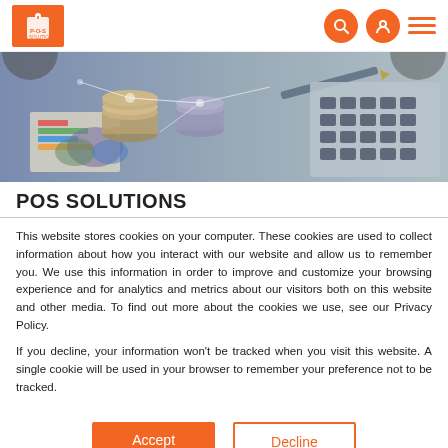POS Solutions - Navigation header with logo, search, profile, and menu icons
[Figure (photo): Hero banner showing coins stacked on financial charts and a calculator keyboard, representing financial/POS solutions]
POS SOLUTIONS
This website stores cookies on your computer. These cookies are used to collect information about how you interact with our website and allow us to remember you. We use this information in order to improve and customize your browsing experience and for analytics and metrics about our visitors both on this website and other media. To find out more about the cookies we use, see our Privacy Policy.
If you decline, your information won't be tracked when you visit this website. A single cookie will be used in your browser to remember your preference not to be tracked.
Accept
Decline